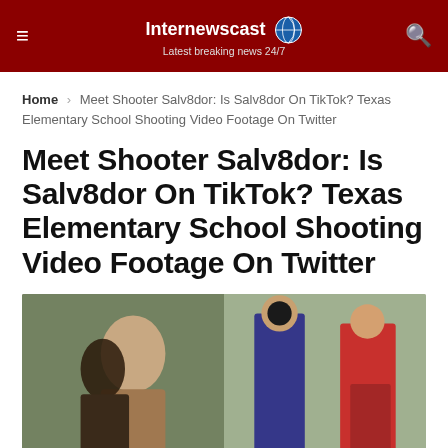Internewscast — Latest breaking news 24/7
Home › Meet Shooter Salv8dor: Is Salv8dor On TikTok? Texas Elementary School Shooting Video Footage On Twitter
Meet Shooter Salv8dor: Is Salv8dor On TikTok? Texas Elementary School Shooting Video Footage On Twitter
[Figure (photo): Two photos side by side: left shows a man with dark hair, right shows people in a red shirt and plaid shirt standing outdoors.]